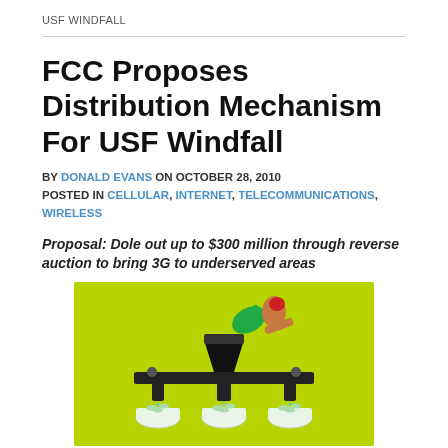USF WINDFALL
FCC Proposes Distribution Mechanism For USF Windfall
BY DONALD EVANS ON OCTOBER 28, 2010
POSTED IN CELLULAR, INTERNET, TELECOMMUNICATIONS, WIRELESS
Proposal: Dole out up to $300 million through reverse auction to bring 3G to underserved areas
[Figure (illustration): Illustration on a yellow-green background showing money being poured into a funnel/machine that distributes it through pipes into smaller bowls below, representing distribution of USF windfall funds.]
As we have reported, the FCC decided last month that, instead of re-distributing to CETC's the $500 million or so in USF funds which Verizon and Sprint renounced as a